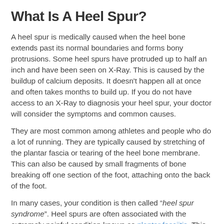What Is A Heel Spur?
A heel spur is medically caused when the heel bone extends past its normal boundaries and forms bony protrusions. Some heel spurs have protruded up to half an inch and have been seen on X-Ray. This is caused by the buildup of calcium deposits. It doesn't happen all at once and often takes months to build up. If you do not have access to an X-Ray to diagnosis your heel spur, your doctor will consider the symptoms and common causes.
They are most common among athletes and people who do a lot of running. They are typically caused by stretching of the plantar fascia or tearing of the heel bone membrane. This can also be caused by small fragments of bone breaking off one section of the foot, attaching onto the back of the foot.
In many cases, your condition is then called “heel spur syndrome”. Heel spurs are often associated with the extremely painful condition known as plantar fasciitis. This is the inflammation of the connective tissue that is situated